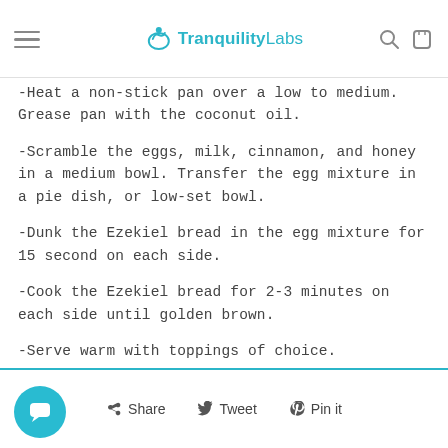Tranquility Labs
-Heat a non-stick pan over a low to medium. Grease pan with the coconut oil.
-Scramble the eggs, milk, cinnamon, and honey in a medium bowl. Transfer the egg mixture in a pie dish, or low-set bowl.
-Dunk the Ezekiel bread in the egg mixture for 15 second on each side.
-Cook the Ezekiel bread for 2-3 minutes on each side until golden brown.
-Serve warm with toppings of choice.
Share  Tweet  Pin it